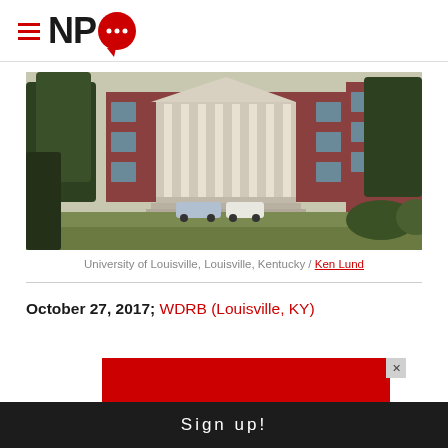NPQ (Nonprofit Quarterly) — logo and navigation header
[Figure (photo): University of Louisville campus building exterior with columns, brick facade, trees, lawn, and two cars parked in front. Louisville, Kentucky.]
University of Louisville, Louisville, Kentucky / Ken Lund
October 27, 2017; WDRB (Louisville, KY)
[Figure (other): Red advertisement banner with close button (x)]
Sign up!